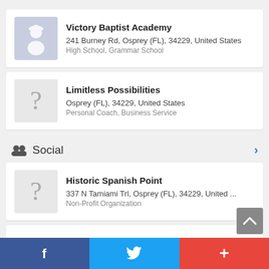[Figure (other): Victory Baptist Academy card with graduation cap icon]
Victory Baptist Academy
241 Burney Rd, Osprey (FL), 34229, United States
High School, Grammar School
[Figure (other): Limitless Possibilities card with question mark icon]
Limitless Possibilities
Osprey (FL), 34229, United States
Personal Coach, Business Service
Social
[Figure (other): Historic Spanish Point card with question mark icon]
Historic Spanish Point
337 N Tamiami Trl, Osprey (FL), 34229, United ...
Non-Profit Organization
Conservation Foundation of the Gulf Coast